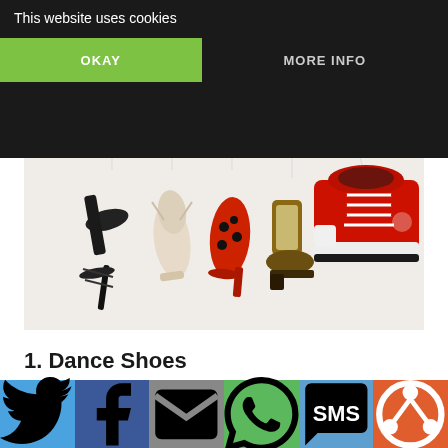This website uses cookies
OKAY
MORE INFO
[Figure (photo): Various dance shoes hanging from a wooden barre: a black strappy heel, a cream ballet pointe shoe, a red and black polka-dot flamenco heel, a brown and cream vintage boot, and a red Converse-style sneaker.]
1. Dance Shoes
[Figure (infographic): Social media share bar with icons for Twitter, Facebook, Email, WhatsApp, SMS, and a circular share button. Backgrounds: light blue, dark blue, gray, green, medium blue, orange.]